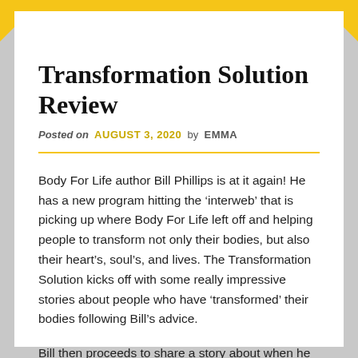Transformation Solution Review
Posted on AUGUST 3, 2020 by EMMA
Body For Life author Bill Phillips is at it again! He has a new program hitting the ‘interweb’ that is picking up where Body For Life left off and helping people to transform not only their bodies, but also their heart’s, soul’s, and lives. The Transformation Solution kicks off with some really impressive stories about people who have ‘transformed’ their bodies following Bill’s advice.
Bill then proceeds to share a story about when he was a kid and his Dad would take him and the rest of his family hiking. He used this ‘base and summit analogy to drive home the point that you have start somewhere on your